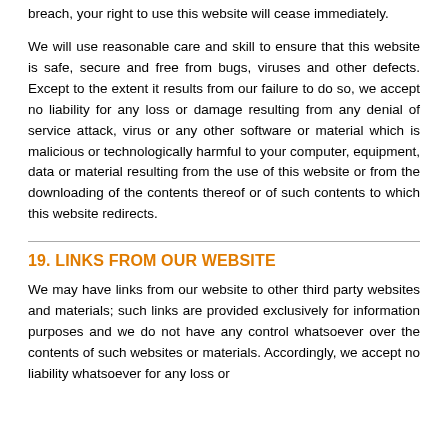breach, your right to use this website will cease immediately.
We will use reasonable care and skill to ensure that this website is safe, secure and free from bugs, viruses and other defects. Except to the extent it results from our failure to do so, we accept no liability for any loss or damage resulting from any denial of service attack, virus or any other software or material which is malicious or technologically harmful to your computer, equipment, data or material resulting from the use of this website or from the downloading of the contents thereof or of such contents to which this website redirects.
19. LINKS FROM OUR WEBSITE
We may have links from our website to other third party websites and materials; such links are provided exclusively for information purposes and we do not have any control whatsoever over the contents of such websites or materials. Accordingly, we accept no liability whatsoever for any loss or